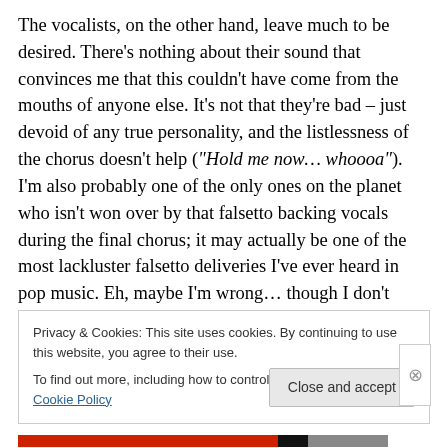The vocalists, on the other hand, leave much to be desired. There's nothing about their sound that convinces me that this couldn't have come from the mouths of anyone else. It's not that they're bad – just devoid of any true personality, and the listlessness of the chorus doesn't help ("Hold me now… whoooa"). I'm also probably one of the only ones on the planet who isn't won over by that falsetto backing vocals during the final chorus; it may actually be one of the most lackluster falsetto deliveries I've ever heard in pop music. Eh, maybe I'm wrong… though I don't think I am.
Privacy & Cookies: This site uses cookies. By continuing to use this website, you agree to their use. To find out more, including how to control cookies, see here: Cookie Policy